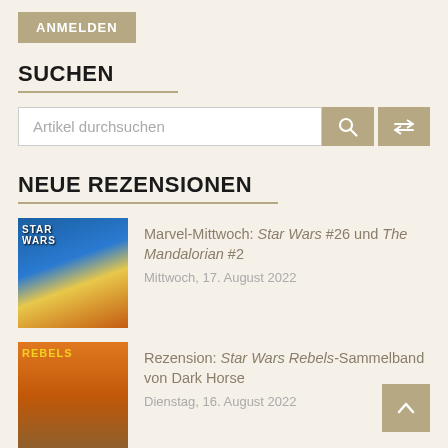ANMELDEN
SUCHEN
Artikel durchsuchen
NEUE REZENSIONEN
Marvel-Mittwoch: Star Wars #26 und The Mandalorian #2 — Mittwoch, 17. August 2022
Rezension: Star Wars Rebels-Sammelband von Dark Horse — Dienstag, 16. August 2022
Rezension: The Princess and the